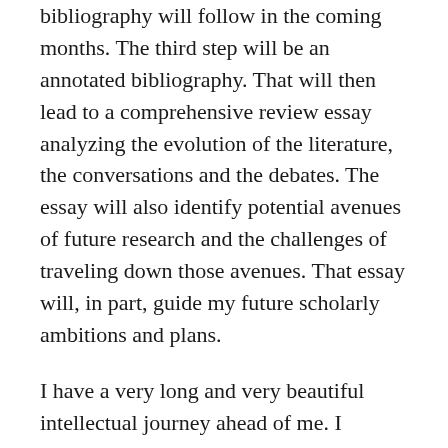bibliography will follow in the coming months. The third step will be an annotated bibliography. That will then lead to a comprehensive review essay analyzing the evolution of the literature, the conversations and the debates. The essay will also identify potential avenues of future research and the challenges of traveling down those avenues. That essay will, in part, guide my future scholarly ambitions and plans.
I have a very long and very beautiful intellectual journey ahead of me. I certainly welcome corrections, comments and suggestions as this self-introductory process continues. You may reach me at this address: remembrance_@hotmail.com